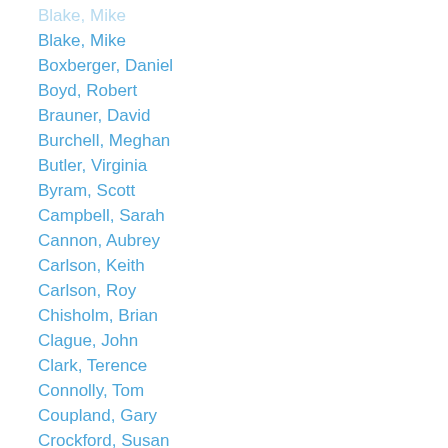Blake, Mike
Boxberger, Daniel
Boyd, Robert
Brauner, David
Burchell, Meghan
Butler, Virginia
Byram, Scott
Campbell, Sarah
Cannon, Aubrey
Carlson, Keith
Carlson, Roy
Chisholm, Brian
Clague, John
Clark, Terence
Connolly, Tom
Coupland, Gary
Crockford, Susan
Croes, Dale
Cruikshank, Julie